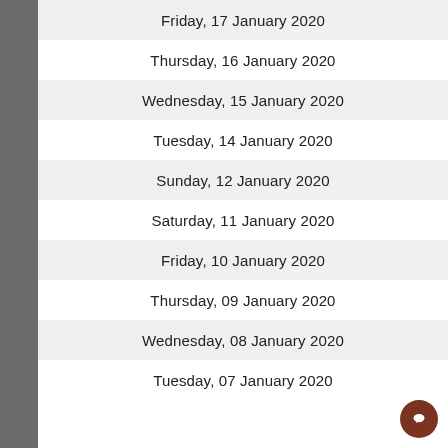Friday, 17 January 2020
Thursday, 16 January 2020
Wednesday, 15 January 2020
Tuesday, 14 January 2020
Sunday, 12 January 2020
Saturday, 11 January 2020
Friday, 10 January 2020
Thursday, 09 January 2020
Wednesday, 08 January 2020
Tuesday, 07 January 2020
[Figure (illustration): Chat button icon (brown circle with speech bubble)]